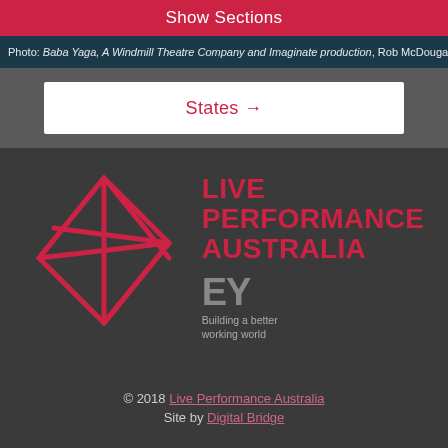Show Sections
Photo: Baba Yaga, A Windmill Theatre Company and Imaginate production, Rob McDougall
States →
[Figure (logo): Live Performance Australia logo: geometric star shape outline in red/pink, with text 'LIVE PERFORMANCE AUSTRALIA' in bold red, and EY logo with 'Building a better working world' tagline below]
© 2018 Live Performance Australia
Site by Digital Bridge